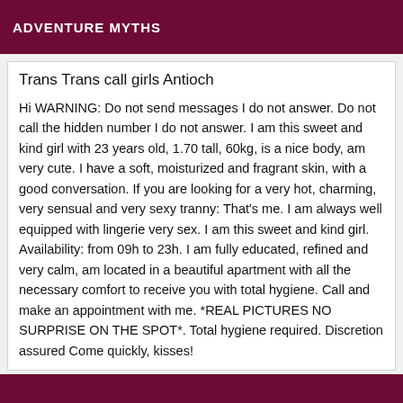ADVENTURE MYTHS
Trans Trans call girls Antioch
Hi WARNING: Do not send messages I do not answer. Do not call the hidden number I do not answer. I am this sweet and kind girl with 23 years old, 1.70 tall, 60kg, is a nice body, am very cute. I have a soft, moisturized and fragrant skin, with a good conversation. If you are looking for a very hot, charming, very sensual and very sexy tranny: That's me. I am always well equipped with lingerie very sex. I am this sweet and kind girl. Availability: from 09h to 23h. I am fully educated, refined and very calm, am located in a beautiful apartment with all the necessary comfort to receive you with total hygiene. Call and make an appointment with me. *REAL PICTURES NO SURPRISE ON THE SPOT*. Total hygiene required. Discretion assured Come quickly, kisses!